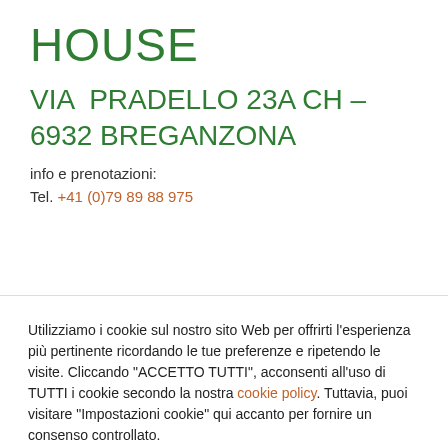HOUSE
VIA  PRADELLO 23A CH – 6932 BREGANZONA
info e prenotazioni:
Tel. +41 (0)79 89 88 975
Utilizziamo i cookie sul nostro sito Web per offrirti l'esperienza più pertinente ricordando le tue preferenze e ripetendo le visite. Cliccando "ACCETTO TUTTI", acconsenti all'uso di TUTTI i cookie secondo la nostra cookie policy. Tuttavia, puoi visitare "Impostazioni cookie" qui accanto per fornire un consenso controllato.
Accetta tutti
Impostazioni
Rifiuta